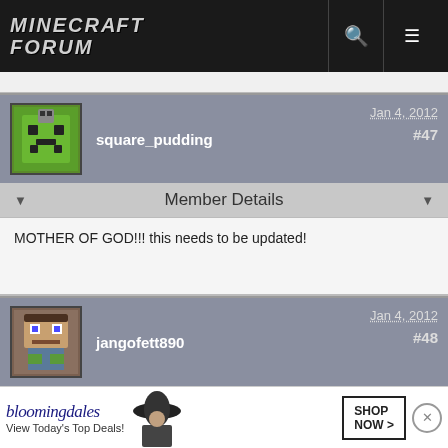MINECRAFT FORUM
square_pudding — Jan 4, 2012 — #47
Member Details
MOTHER OF GOD!!! this needs to be updated!
jangofett890 — Jan 4, 2012 — #48
Member Details
lol i wa... anything like this...
[Figure (screenshot): Bloomingdale's advertisement banner with woman in hat, 'View Today's Top Deals!' and 'SHOP NOW >' button]